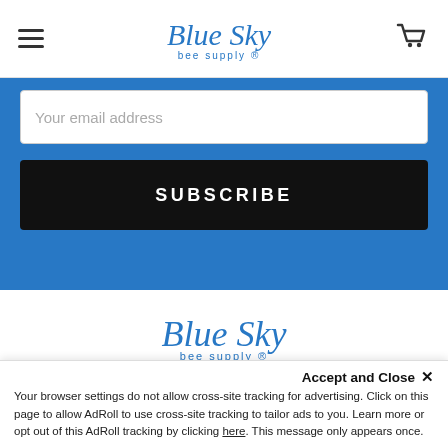Blue Sky bee supply — navigation header with hamburger menu and cart icon
Your email address
SUBSCRIBE
[Figure (logo): Blue Sky bee supply logo in blue script font, centered in footer area]
Blue Sky Bee Supply, LTD
930 N. Freedom St.
Ravenna, OH 44266
USA
877-529-9233
Accept and Close ✕
Your browser settings do not allow cross-site tracking for advertising. Click on this page to allow AdRoll to use cross-site tracking to tailor ads to you. Learn more or opt out of this AdRoll tracking by clicking here. This message only appears once.